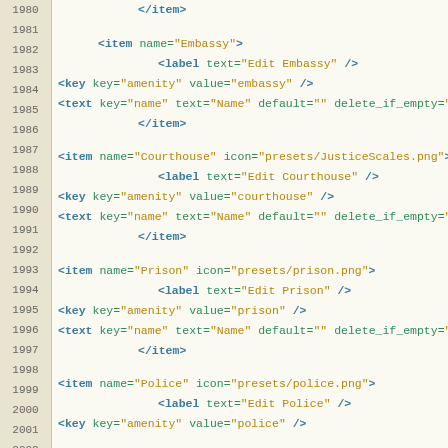[Figure (screenshot): Code editor screenshot showing XML configuration lines 1980-2003 with line numbers on left, syntax-highlighted XML tags in blue/green/gold on light background. Contains item, label, key, and text elements for Embassy, Courthouse, Prison, and Police amenity presets.]